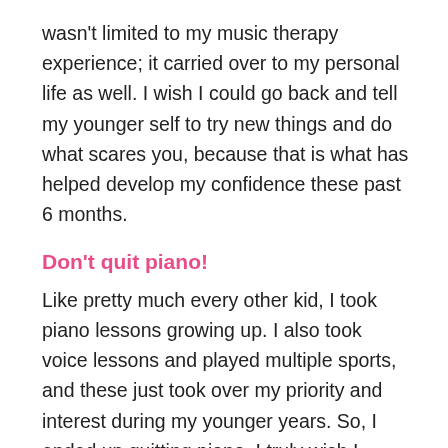wasn't limited to my music therapy experience; it carried over to my personal life as well. I wish I could go back and tell my younger self to try new things and do what scares you, because that is what has helped develop my confidence these past 6 months.
Don't quit piano!
Like pretty much every other kid, I took piano lessons growing up. I also took voice lessons and played multiple sports, and these just took over my priority and interest during my younger years. So, I ended up quitting piano. I truly wish I would have kept up with piano, as now I use it every day. Thankfully, a lot of my piano skills